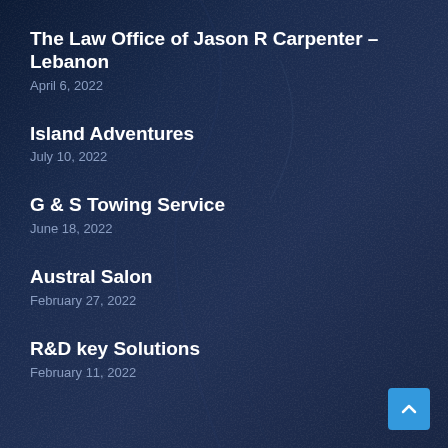The Law Office of Jason R Carpenter – Lebanon
April 6, 2022
Island Adventures
July 10, 2022
G & S Towing Service
June 18, 2022
Austral Salon
February 27, 2022
R&D key Solutions
February 11, 2022